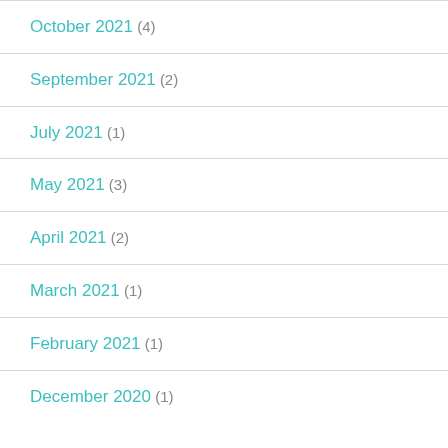October 2021 (4)
September 2021 (2)
July 2021 (1)
May 2021 (3)
April 2021 (2)
March 2021 (1)
February 2021 (1)
December 2020 (1)